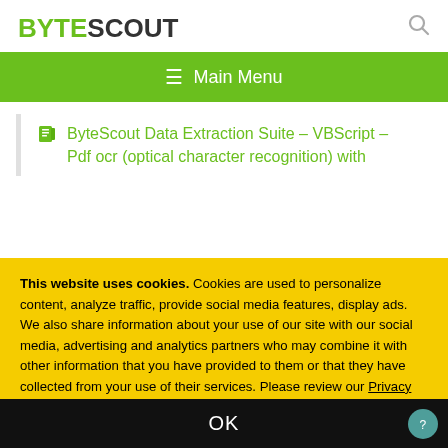BYTESCOUT
≡  Main Menu
ByteScout Data Extraction Suite – VBScript – Pdf ocr (optical character recognition) with
This website uses cookies. Cookies are used to personalize content, analyze traffic, provide social media features, display ads. We also share information about your use of our site with our social media, advertising and analytics partners who may combine it with other information that you have provided to them or that they have collected from your use of their services. Please review our Privacy Policy for more details or change cookies settings. By closing this banner or by clicking a link or continuing to browse otherwise, you consent to our cookies.
OK